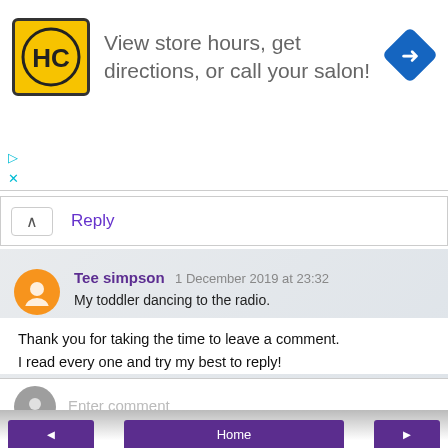[Figure (infographic): Advertisement banner: HC logo (yellow square with HC letters), text 'View store hours, get directions, or call your salon!', blue diamond direction icon on the right. Small play and X controls on the left edge.]
Reply
Tee simpson 1 December 2019 at 23:32
My toddler dancing to the radio.
Reply
Enter comment
Thank you for taking the time to leave a comment.
I read every one and try my best to reply!
Home